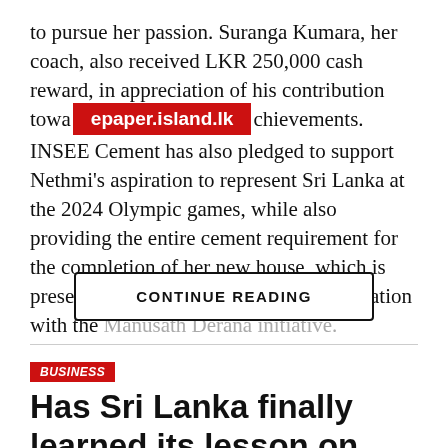to pursue her passion. Suranga Kumara, her coach, also received LKR 250,000 cash reward, in appreciation of his contribution towa[epaper.island.lk]chievements. INSEE Cement has also pledged to support Nethmi's aspiration to represent Sri Lanka at the 2024 Olympic games, while also providing the entire cement requirement for the completion of her new house, which is presently under construction, in collaboration with the Manusath Derana initiative.
CONTINUE READING
BUSINESS
Has Sri Lanka finally learned its lesson on emotional vs evidence-